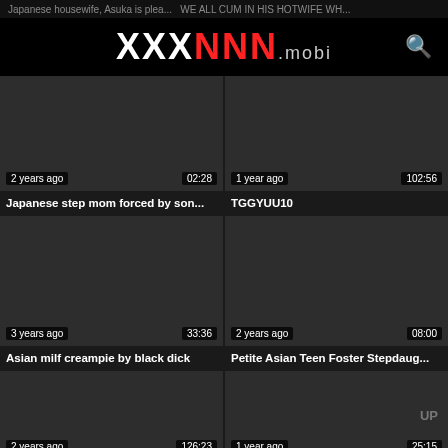Japanese housewife, Asuka is plea... WE ALL CUM IN HIS HOTWIFE WH...
XXXNNN.mobi
[Figure (screenshot): Video thumbnail dark placeholder, 2 years ago, 02:28]
Japanese step mom forced by son...
[Figure (screenshot): Video thumbnail dark placeholder, 1 year ago, 102:56]
TGGYUU10
[Figure (screenshot): Video thumbnail dark placeholder, 3 years ago, 33:36]
Asian milf creampie by black dick
[Figure (screenshot): Video thumbnail dark placeholder, 2 years ago, 08:00]
Petite Asian Teen Foster Stepdaug...
[Figure (screenshot): Video thumbnail dark placeholder, 2 years ago, 126:23]
[Figure (screenshot): Video thumbnail dark placeholder, 1 year ago, 25:15, UP label]